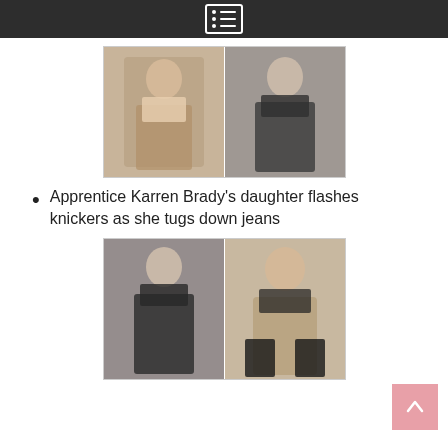Navigation menu header bar
[Figure (photo): Two side-by-side photos of a young woman: left photo shows her in a white bralette and low-rise jeans; right photo shows her in a black sheer bustier top and black vinyl trousers.]
Apprentice Karren Brady's daughter flashes knickers as she tugs down jeans
[Figure (photo): Two side-by-side photos: left shows the same woman in a black sheer bustier top and black vinyl trousers; right shows her in a black bikini/swimsuit posing on stairs.]